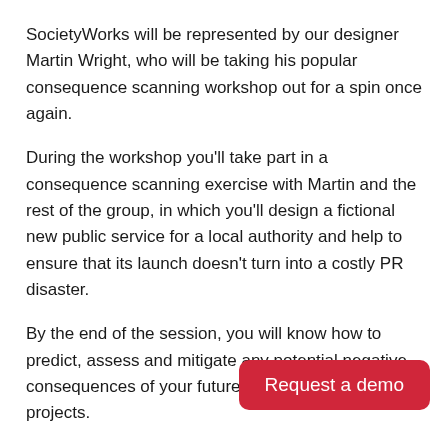SocietyWorks will be represented by our designer Martin Wright, who will be taking his popular consequence scanning workshop out for a spin once again.
During the workshop you'll take part in a consequence scanning exercise with Martin and the rest of the group, in which you'll design a fictional new public service for a local authority and help to ensure that its launch doesn't turn into a costly PR disaster.
By the end of the session, you will know how to predict, assess and mitigate any potential negative consequences of your future public service design projects.
Martin has run variations of this workshop a couple
[Figure (other): Red button labeled 'Request a demo']